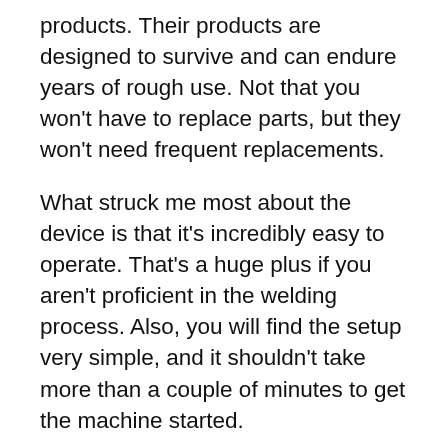products. Their products are designed to survive and can endure years of rough use. Not that you won't have to replace parts, but they won't need frequent replacements.
What struck me most about the device is that it's incredibly easy to operate. That's a huge plus if you aren't proficient in the welding process. Also, you will find the setup very simple, and it shouldn't take more than a couple of minutes to get the machine started.
The Mig welding device can weld steel up to 3/8″ thick. If you take the price into consideration, it seems more than impressive. Moreover, the duty cycle of the device is 20% at 90 amps. That means you